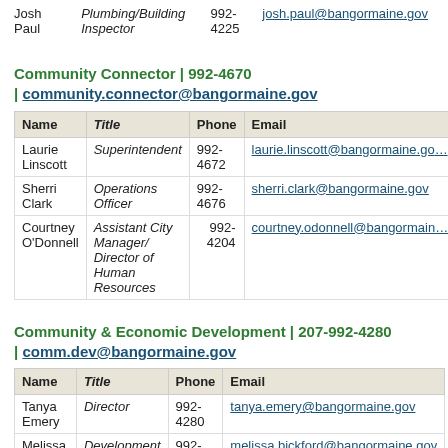| Name | Title | Phone | Email |
| --- | --- | --- | --- |
| Josh Paul | Plumbing/Building Inspector | 992-4225 | josh.paul@bangormaine.gov |
Community Connector | 992-4670 | community.connector@bangormaine.gov
| Name | Title | Phone | Email |
| --- | --- | --- | --- |
| Laurie Linscott | Superintendent | 992-4672 | laurie.linscott@bangormaine.gov |
| Sherri Clark | Operations Officer | 992-4676 | sherri.clark@bangormaine.gov |
| Courtney O'Donnell | Assistant City Manager/ Director of Human Resources | 992-4204 | courtney.odonnell@bangormaine.gov |
Community & Economic Development | 207-992-4280 | comm.dev@bangormaine.gov
| Name | Title | Phone | Email |
| --- | --- | --- | --- |
| Tanya Emery | Director | 992-4280 | tanya.emery@bangormaine.gov |
| Melissa Bickford | Development Assistant | 992-4279 | melissa.bickford@bangormaine.gov |